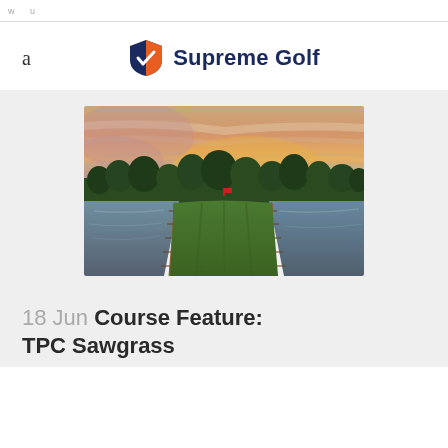w u
a
[Figure (logo): Supreme Golf logo with shield icon in orange and blue, text Supreme Golf in dark navy]
[Figure (photo): Golf course photo showing a narrow fairway peninsula surrounded by water with dramatic sunset sky in orange, pink and purple hues, trees in background]
18 Jun Course Feature: TPC Sawgrass